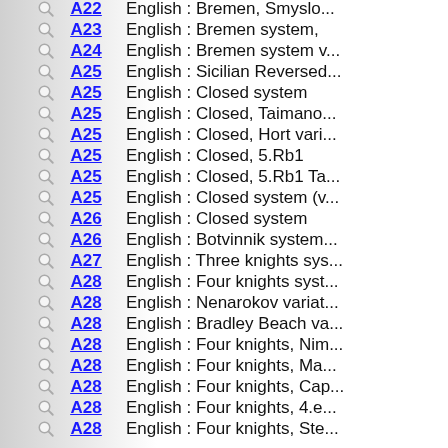A22 — English : Bremen, Smyslo...
A23 — English : Bremen system,
A24 — English : Bremen system v...
A25 — English : Sicilian Reversed...
A25 — English : Closed system
A25 — English : Closed, Taimano...
A25 — English : Closed, Hort vari...
A25 — English : Closed, 5.Rb1
A25 — English : Closed, 5.Rb1 Ta...
A25 — English : Closed system (v...
A26 — English : Closed system
A26 — English : Botvinnik system...
A27 — English : Three knights sys...
A28 — English : Four knights syst...
A28 — English : Nenarokov variat...
A28 — English : Bradley Beach va...
A28 — English : Four knights, Nim...
A28 — English : Four knights, Ma...
A28 — English : Four knights, Cap...
A28 — English : Four knights, 4.e...
A28 — English : Four knights, Ste...